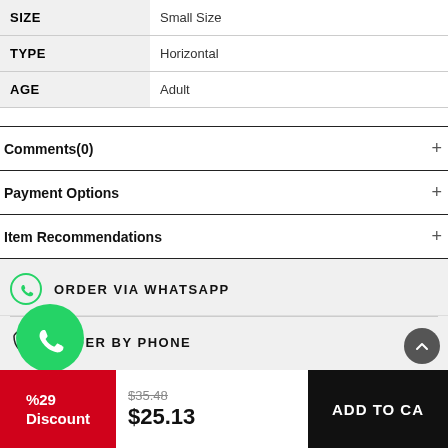|  |  |
| --- | --- |
| SIZE | Small Size |
| TYPE | Horizontal |
| AGE | Adult |
Comments(0)
Payment Options
Item Recommendations
ORDER VIA WHATSAPP
ORDER BY PHONE
%29 Discount
$35.48
$25.13
ADD TO CA